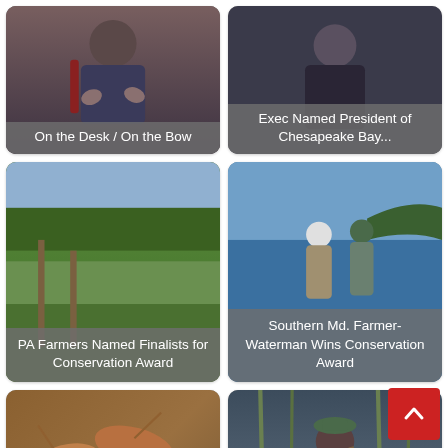[Figure (photo): Person in blue flannel shirt sitting with hands gesturing, indoor setting]
On the Desk / On the Bow
[Figure (photo): Person in dark clothing, upper body visible]
Exec Named President of Chesapeake Bay...
[Figure (photo): Aerial/landscape view of green farmland near water]
PA Farmers Named Finalists for Conservation Award
[Figure (photo): Two people on a boat on blue water, one wearing white hard hat]
Southern Md. Farmer-Waterman Wins Conservation Award
[Figure (photo): Close-up of shrimp/seafood]
Bill Would Move Md. Closer to Commercial Shrimp Fishery
[Figure (photo): Person outdoors near water/reeds]
Md. Bill Would Reinstate Longtime Patuxent Riverkeeper to...